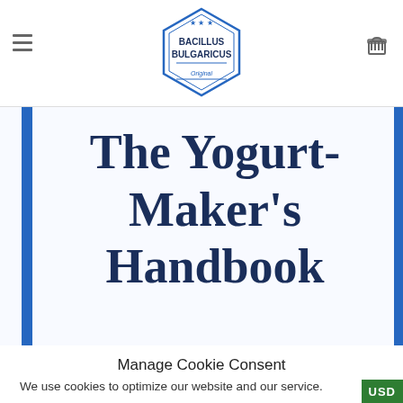Bacillus Bulgaricus — site header with hamburger menu, logo, and cart icon
The Yogurt-Maker's Handbook
Manage Cookie Consent
We use cookies to optimize our website and our service.
ACCEPT
DENY
PREFERENCES